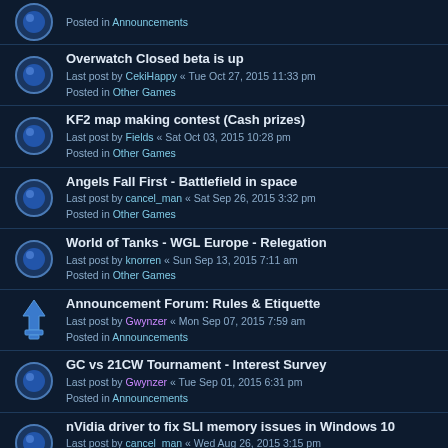Posted in Announcements
Overwatch Closed beta is up
Last post by CekiHappy « Tue Oct 27, 2015 11:33 pm
Posted in Other Games
KF2 map making contest (Cash prizes)
Last post by Fields « Sat Oct 03, 2015 10:28 pm
Posted in Other Games
Angels Fall First - Battlefield in space
Last post by cancel_man « Sat Sep 26, 2015 3:32 pm
Posted in Other Games
World of Tanks - WGL Europe - Relegation
Last post by knorren « Sun Sep 13, 2015 7:11 am
Posted in Other Games
Announcement Forum: Rules & Etiquette
Last post by Gwynzer « Mon Sep 07, 2015 7:59 am
Posted in Announcements
GC vs 21CW Tournament - Interest Survey
Last post by Gwynzer « Tue Sep 01, 2015 6:31 pm
Posted in Announcements
nVidia driver to fix SLI memory issues in Windows 10
Last post by cancel_man « Wed Aug 26, 2015 3:15 pm
Posted in General Discussion
21CW Scrim sign-up
Last post by ViperXVII « Sat Aug 15, 2015 4:12 pm
Posted in Announcements